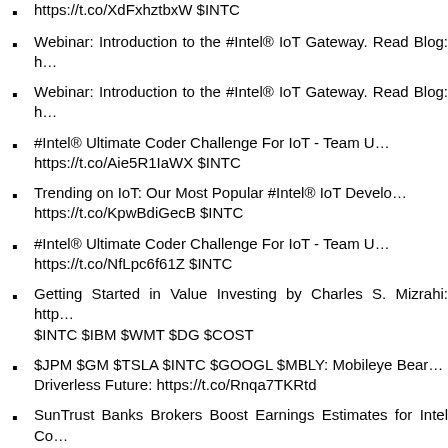https://t.co/XdFxhztbxW $INTC
Webinar: Introduction to the #Intel® IoT Gateway. Read Blog: h…
Webinar: Introduction to the #Intel® IoT Gateway. Read Blog: h…
#Intel® Ultimate Coder Challenge For IoT - Team U… https://t.co/Aie5R1IaWX $INTC
Trending on IoT: Our Most Popular #Intel® IoT Develo… https://t.co/KpwBdiGecB $INTC
#Intel® Ultimate Coder Challenge For IoT - Team U… https://t.co/NfLpc6f61Z $INTC
Getting Started in Value Investing by Charles S. Mizrahi: http… $INTC $IBM $WMT $DG $COST
$JPM $GM $TSLA $INTC $GOOGL $MBLY: Mobileye Bear… Driverless Future: https://t.co/Rnqa7TKRtd
SunTrust Banks Brokers Boost Earnings Estimates for Intel Co…
Intel Corp. $INTC Given Hold Rating at MKM Partners https://t…
RT: Cabin…